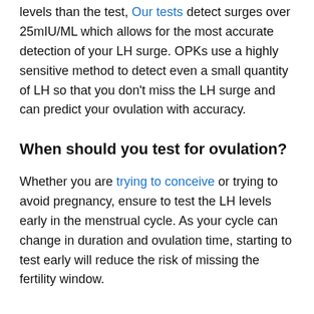levels than the test, Our tests detect surges over 25mIU/ML which allows for the most accurate detection of your LH surge. OPKs use a highly sensitive method to detect even a small quantity of LH so that you don't miss the LH surge and can predict your ovulation with accuracy.
When should you test for ovulation?
Whether you are trying to conceive or trying to avoid pregnancy, ensure to test the LH levels early in the menstrual cycle. As your cycle can change in duration and ovulation time, starting to test early will reduce the risk of missing the fertility window.